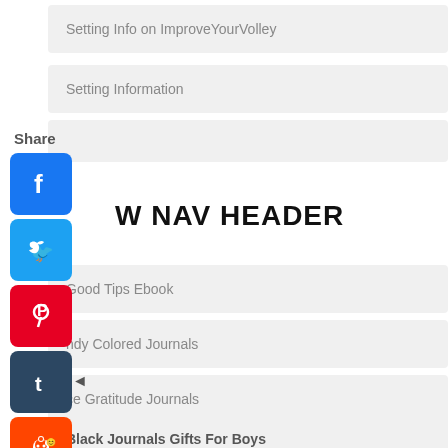Setting Info on ImproveYourVolley
Setting Information
Share
W NAV HEADER
Good Tips Ebook
ndy Colored Journals
ce Gratitude Journals
Black Journals Gifts For Boys